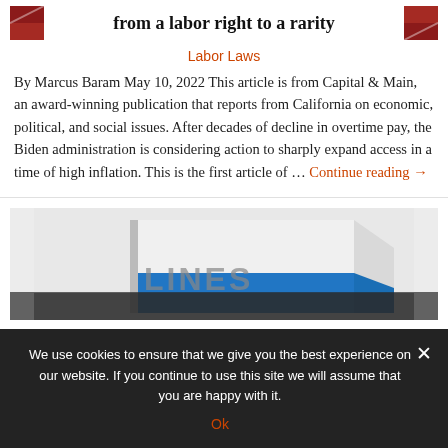from a labor right to a rarity
Labor Laws
By Marcus Baram May 10, 2022 This article is from Capital & Main, an award-winning publication that reports from California on economic, political, and social issues. After decades of decline in overtime pay, the Biden administration is considering action to sharply expand access in a time of high inflation. This is the first article of … Continue reading →
[Figure (photo): Book cover image partially visible, with blue and white cover design and large text partially readable]
We use cookies to ensure that we give you the best experience on our website. If you continue to use this site we will assume that you are happy with it.
Ok